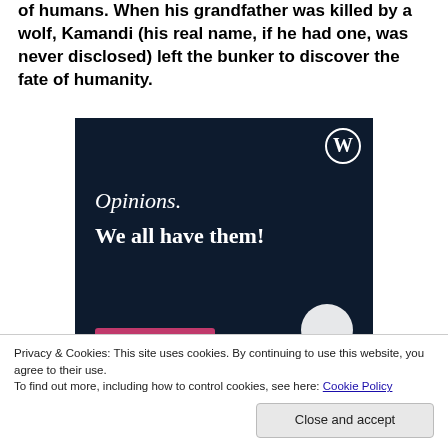of humans. When his grandfather was killed by a wolf, Kamandi (his real name, if he had one, was never disclosed) left the bunker to discover the fate of humanity.
[Figure (illustration): Dark navy blue advertisement banner with WordPress logo (W in circle) in top right corner. Text reads 'Opinions.' in italic serif font and 'We all have them!' in bold serif font. A pink/magenta button bar at the bottom left and a white circle at the bottom right.]
Privacy & Cookies: This site uses cookies. By continuing to use this website, you agree to their use.
To find out more, including how to control cookies, see here: Cookie Policy
Close and accept